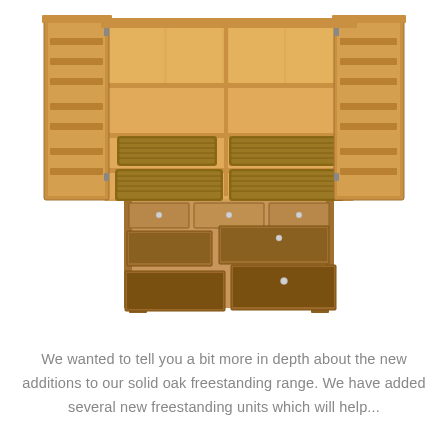[Figure (photo): A large open solid oak freestanding storage unit/larder with its doors open wide, showing internal shelving with wicker baskets, and multiple open drawers at the bottom. The cabinet is made of light natural oak wood.]
We wanted to tell you a bit more in depth about the new additions to our solid oak freestanding range. We have added several new freestanding units which will help...